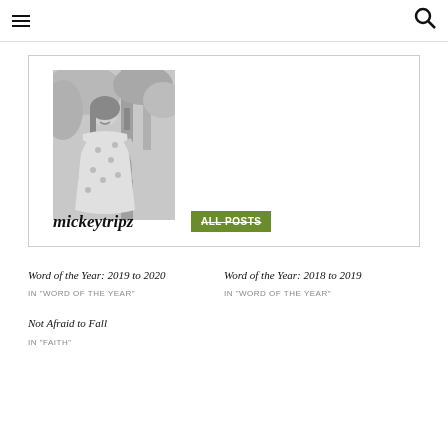☰  🔍
[Figure (photo): Black and white photo of a young woman in a floral dress standing outdoors among trees]
mickeytripz
ALL POSTS
Word of the Year: 2019 to 2020
Word of the Year: 2018 to 2019
IN "WORD OF THE YEAR"
IN "WORD OF THE YEAR"
Not Afraid to Fall
IN "FAITH"